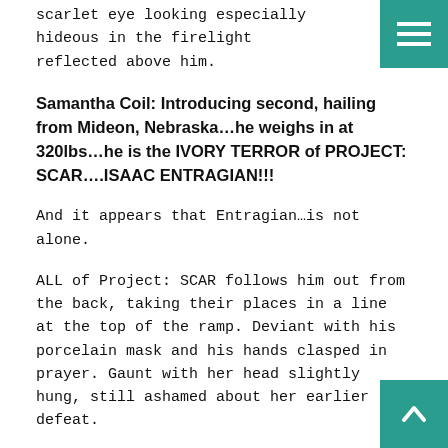scarlet eye looking especially hideous in the firelight reflected above him.
Samantha Coil: Introducing second, hailing from Mideon, Nebraska…he weighs in at 320lbs…he is the IVORY TERROR of PROJECT: SCAR….ISAAC ENTRAGIAN!!!
And it appears that Entragian…is not alone.
ALL of Project: SCAR follows him out from the back, taking their places in a line at the top of the ramp. Deviant with his porcelain mask and his hands clasped in prayer. Gaunt with her head slightly hung, still ashamed about her earlier defeat.
Kenji & Flay stand to one side, and Kenji's arm is around Flay's shoulders. Obsidian stands right beside the two of them…slightly apart from Isaac, Gaunt and Deviant. becomes immediately apparent by body language alone